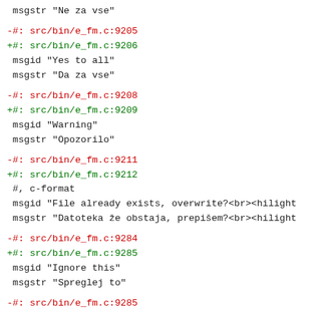msgstr "Ne za vse"

-#: src/bin/e_fm.c:9205
+#: src/bin/e_fm.c:9206
 msgid "Yes to all"
 msgstr "Da za vse"

-#: src/bin/e_fm.c:9208
+#: src/bin/e_fm.c:9209
 msgid "Warning"
 msgstr "Opozorilo"

-#: src/bin/e_fm.c:9211
+#: src/bin/e_fm.c:9212
 #, c-format
 msgid "File already exists, overwrite?<br><hilight
 msgstr "Datoteka že obstaja, prepišem?<br><hilight

-#: src/bin/e_fm.c:9284
+#: src/bin/e_fm.c:9285
 msgid "Ignore this"
 msgstr "Spreglej to"

-#: src/bin/e_fm.c:9285
+#: src/bin/e_fm.c:9286
 msgid "Ignore all"
 msgstr "Spreglej vse"

-#: src/bin/e_fm.c:9290
+#: src/bin/e_fm.c:9291